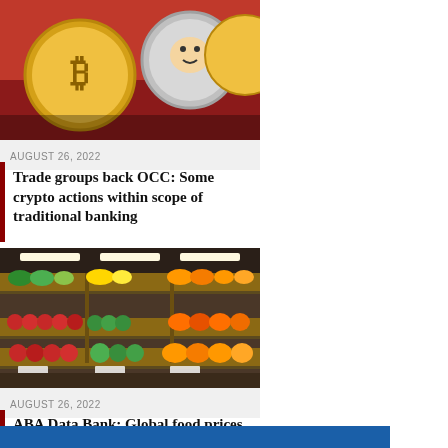[Figure (photo): Cryptocurrency coins including Bitcoin and Dogecoin]
AUGUST 26, 2022
Trade groups back OCC: Some crypto actions within scope of traditional banking
[Figure (photo): Grocery store produce section with fruits and vegetables]
AUGUST 26, 2022
ABA Data Bank: Global food prices decreased during summer